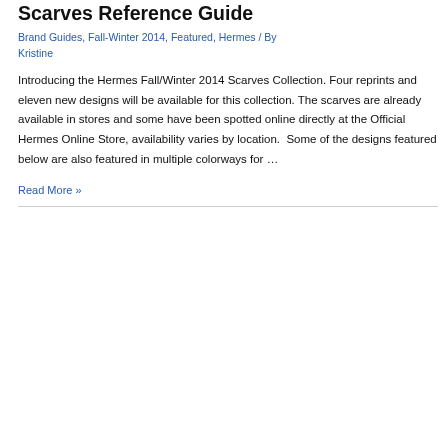Scarves Reference Guide
Brand Guides, Fall-Winter 2014, Featured, Hermes / By Kristine
Introducing the Hermes Fall/Winter 2014 Scarves Collection. Four reprints and eleven new designs will be available for this collection. The scarves are already available in stores and some have been spotted online directly at the Official Hermes Online Store, availability varies by location.  Some of the designs featured below are also featured in multiple colorways for …
Read More »